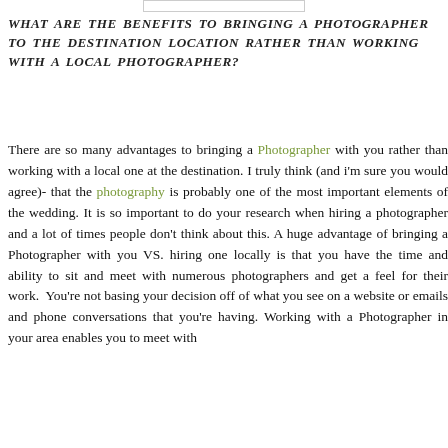WHAT ARE THE BENEFITS TO BRINGING A PHOTOGRAPHER TO THE DESTINATION LOCATION RATHER THAN WORKING WITH A LOCAL PHOTOGRAPHER?
There are so many advantages to bringing a Photographer with you rather than working with a local one at the destination. I truly think (and i'm sure you would agree)- that the photography is probably one of the most important elements of the wedding. It is so important to do your research when hiring a photographer and a lot of times people don't think about this. A huge advantage of bringing a Photographer with you VS. hiring one locally is that you have the time and ability to sit and meet with numerous photographers and get a feel for their work.  You're not basing your decision off of what you see on a website or emails and phone conversations that you're having. Working with a Photographer in your area enables you to meet with